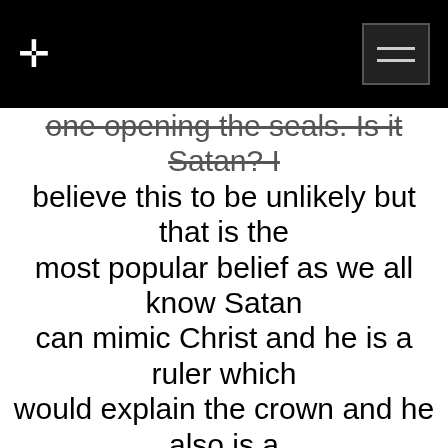† ☰
one opening the seals. Is it Satan? I believe this to be unlikely but that is the most popular belief as we all know Satan can mimic Christ and he is a ruler which would explain the crown and he also is a conqueror of sorts as he has already conquered this world. I believe it to be a spirit of conquest as the other riders are spirits sent from heaven why not the white rider as well? Also, why would Satan be in heaven and departing with others sent from God?